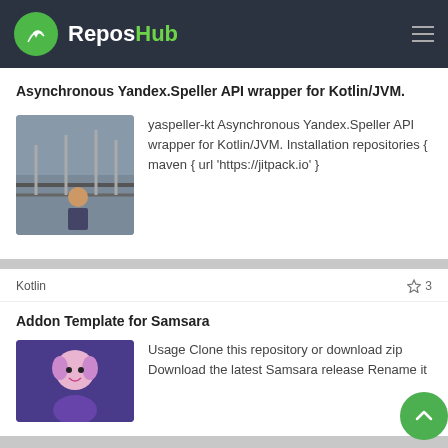ReposHub
Asynchronous Yandex.Speller API wrapper for Kotlin/JVM.
yaspeller-kt Asynchronous Yandex.Speller API wrapper for Kotlin/JVM. Installation repositories { maven { url 'https://jitpack.io' }
Kotlin   ☆ 3
Addon Template for Samsara
Usage Clone this repository or download zip Download the latest Samsara release Rename it